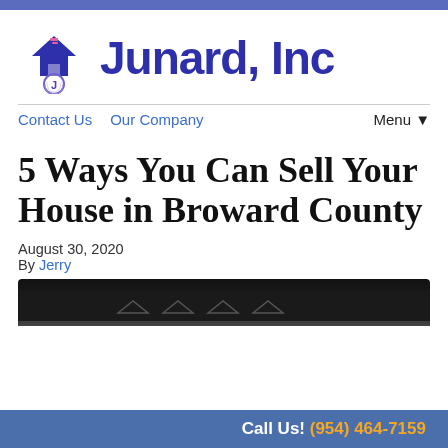[Figure (logo): Junard, Inc company logo with house and circular J icon in purple/blue, and text 'Junard, Inc' in dark blue]
Contact Us   Our Company   Menu ▼
5 Ways You Can Sell Your House in Broward County
August 30, 2020
By Jerry
[Figure (photo): Partial dark image strip at bottom of content area]
Call Us! (954) 464-7159